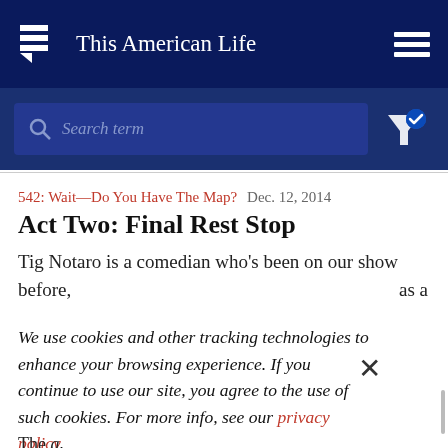This American Life
Search term
542: Wait—Do You Have The Map?  Dec. 12, 2014
Act Two: Final Rest Stop
Tig Notaro is a comedian who's been on our show before, as a
We use cookies and other tracking technologies to enhance your browsing experience. If you continue to use our site, you agree to the use of such cookies. For more info, see our privacy policy.